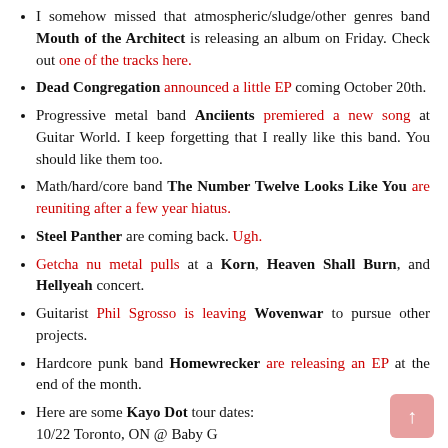I somehow missed that atmospheric/sludge/other genres band Mouth of the Architect is releasing an album on Friday. Check out one of the tracks here.
Dead Congregation announced a little EP coming October 20th.
Progressive metal band Anciients premiered a new song at Guitar World. I keep forgetting that I really like this band. You should like them too.
Math/hard/core band The Number Twelve Looks Like You are reuniting after a few year hiatus.
Steel Panther are coming back. Ugh.
Getcha nu metal pulls at a Korn, Heaven Shall Burn, and Hellyeah concert.
Guitarist Phil Sgrosso is leaving Wovenwar to pursue other projects.
Hardcore punk band Homewrecker are releasing an EP at the end of the month.
Here are some Kayo Dot tour dates: 10/22 Toronto, ON @ Baby G 10/23 Chicago, IL @ Cobra Lounge